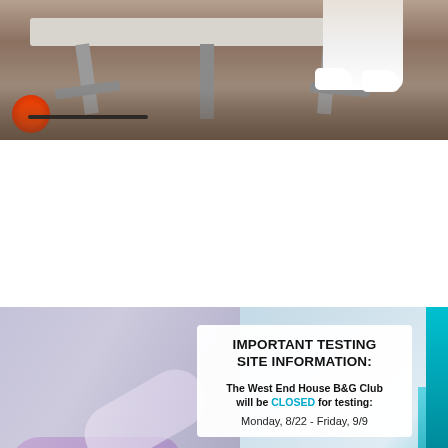[Figure (photo): Top photo showing a folding table with metal legs on a patterned carpet, a red spool of wire/cord on the left side, and a person's legs with white sneakers visible on the right side in the background.]
[Figure (infographic): COVID-19 testing site information infographic. Background shows a blurry nurse/healthcare worker performing a nasal swab test on a patient wearing a purple mask, holding a COVID-19 test tube. Right side has teal accent bars. Two white info boxes overlay the image with text about testing site closure and alternative testing times.]
IMPORTANT TESTING SITE INFORMATION:
The West End House B&G Club will be CLOSED for testing:
Monday, 8/22 - Friday, 9/9
ALTERNATIVE TESTING TIMES:
Josephine F. Community Center
123 Antwerp Street Extension
Brighton, MA 02135
Monday, 8/22: 12:30AM-4:30PM
Tuesday, 8/23: 9:30AM-1:30PM
Wednesday, 8/24: 12:30AM-4:30PM